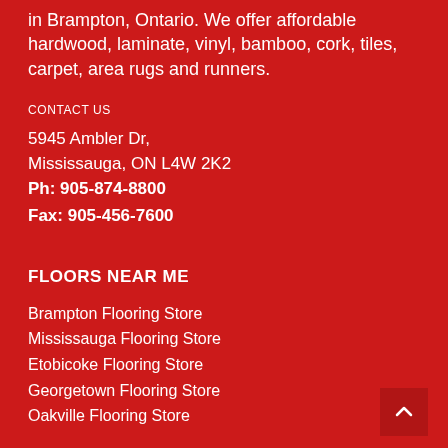in Brampton, Ontario. We offer affordable hardwood, laminate, vinyl, bamboo, cork, tiles, carpet, area rugs and runners.
CONTACT US
5945 Ambler Dr,
Mississauga, ON L4W 2K2
Ph: 905-874-8800
Fax: 905-456-7600
FLOORS NEAR ME
Brampton Flooring Store
Mississauga Flooring Store
Etobicoke Flooring Store
Georgetown Flooring Store
Oakville Flooring Store